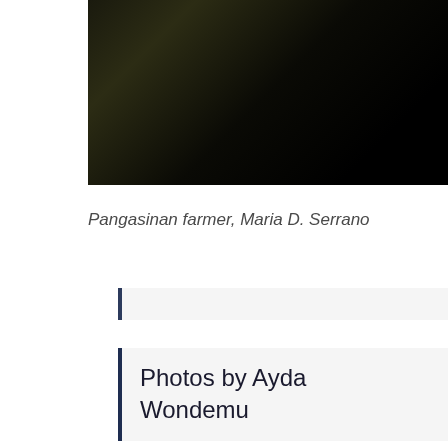[Figure (photo): Dark, nearly black photograph of a field or landscape, possibly at night or heavily underexposed, with slight olive/dark green tones]
Pangasinan farmer, Maria D. Serrano
Photos by Ayda Wondemu